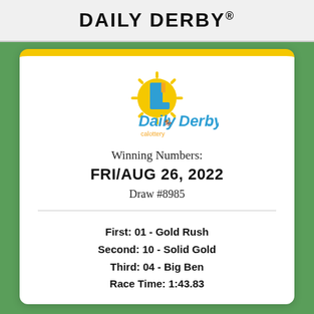DAILY DERBY®
[Figure (logo): Daily Derby California Lottery logo with sun and blue L shape]
Winning Numbers:
FRI/AUG 26, 2022
Draw #8985
First: 01 - Gold Rush
Second: 10 - Solid Gold
Third: 04 - Big Ben
Race Time: 1:43.83